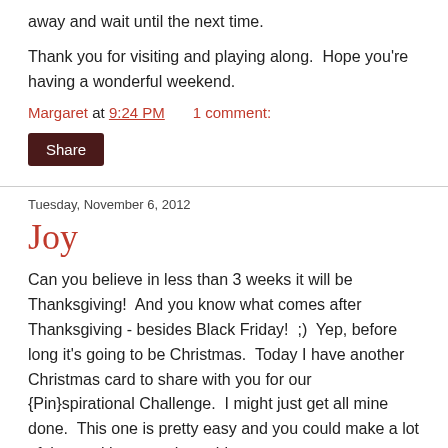away and wait until the next time.
Thank you for visiting and playing along.  Hope you're having a wonderful weekend.
Margaret at 9:24 PM    1 comment:
Share
Tuesday, November 6, 2012
Joy
Can you believe in less than 3 weeks it will be Thanksgiving!  And you know what comes after Thanksgiving - besides Black Friday!  ;)  Yep, before long it's going to be Christmas.  Today I have another Christmas card to share with you for our {Pin}spirational Challenge.  I might just get all mine done.  This one is pretty easy and you could make a lot of these without much trouble.
First of all, our Sponsor this week is Beccy's Place.